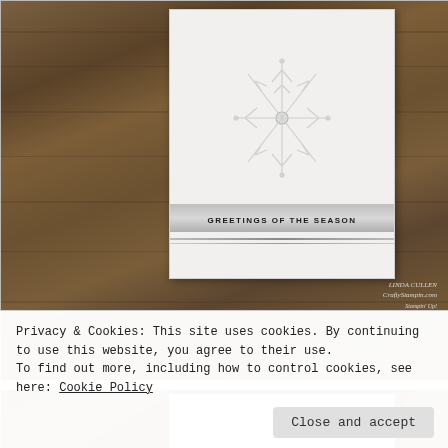[Figure (photo): Top photo: greeting card with embossed snowflake design and text 'GREETINGS OF THE SEASON' on a silver bar, placed on a rustic wood background. Watermark reads 'LINDA CULLEN CraftyStampin.com Stampin' Up!']
[Figure (photo): Bottom photo (partially visible): white card with embossed botanical/snowflake motif and small rhinestone embellishments, on a wood background.]
Privacy & Cookies: This site uses cookies. By continuing to use this website, you agree to their use.
To find out more, including how to control cookies, see here: Cookie Policy
Close and accept